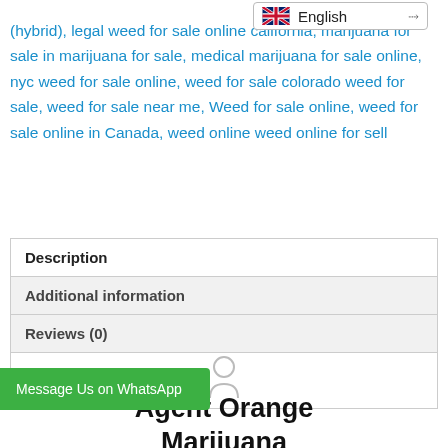[Figure (screenshot): Language selector dropdown showing UK flag and 'English' with a chevron arrow]
(hybrid), legal weed for sale online california, marijuana for sale in marijuana for sale, medical marijuana for sale online, nyc weed for sale online, weed for sale colorado weed for sale, weed for sale near me, Weed for sale online, weed for sale online in Canada, weed online weed online for sell
| Tab |
| --- |
| Description |
| Additional information |
| Reviews (0) |
[Figure (illustration): Person/user silhouette icon]
Agent Orange Marijuana
Message Us on WhatsApp